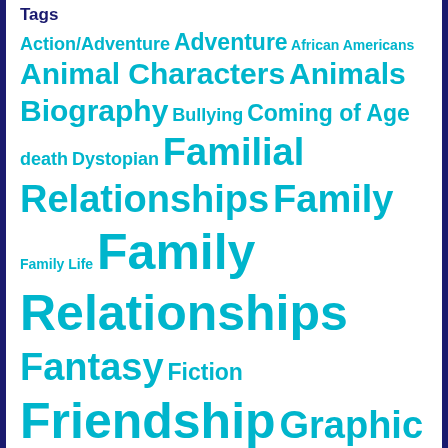Tags
Action/Adventure Adventure African Americans Animal Characters Animals Biography Bullying Coming of Age death Dystopian Familial Relationships Family Family Life Family Relationships Fantasy Fiction Friendship Graphic Novel Grief Historical Fiction History Humor Informational LGBTQ Magic Memoir Mystery Nonfiction Picture Book Picture Books Poetry Realistic Fiction Relationships Romance Science Science Fiction Series Series Nonfiction Siblings Social